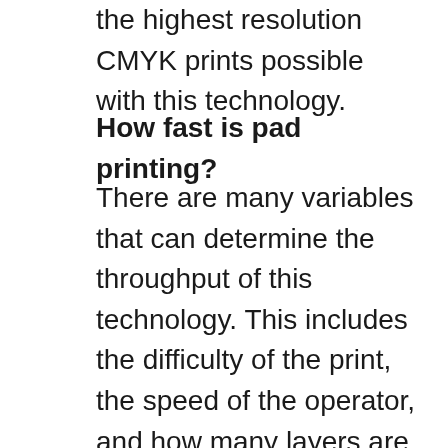the highest resolution CMYK prints possible with this technology.
How fast is pad printing?
There are many variables that can determine the throughput of this technology. This includes the difficulty of the print, the speed of the operator, and how many layers are required. An experienced operator with a standard print can achieve up to 1,000 prints per hour. We do have options for increasing